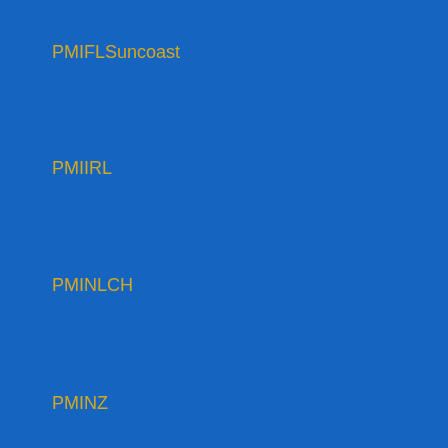PMIFLSuncoast
PMIIRL
PMINLCH
PMINZ
PMISNC
PMIUAE
PMO
pmo
PMO